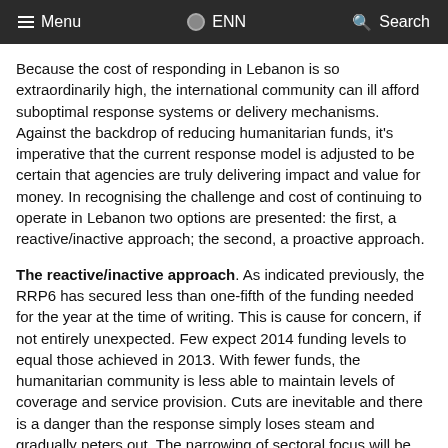Menu  ENN  Search
Because the cost of responding in Lebanon is so extraordinarily high, the international community can ill afford suboptimal response systems or delivery mechanisms. Against the backdrop of reducing humanitarian funds, it's imperative that the current response model is adjusted to be certain that agencies are truly delivering impact and value for money. In recognising the challenge and cost of continuing to operate in Lebanon two options are presented: the first, a reactive/inactive approach; the second, a proactive approach.
The reactive/inactive approach. As indicated previously, the RRP6 has secured less than one-fifth of the funding needed for the year at the time of writing. This is cause for concern, if not entirely unexpected. Few expect 2014 funding levels to equal those achieved in 2013. With fewer funds, the humanitarian community is less able to maintain levels of coverage and service provision. Cuts are inevitable and there is a danger than the response simply loses steam and gradually peters out. The narrowing of sectoral focus will be accompanied by fewer and fewer target households receiving assistance. Equally, the gaze of donors, responders and the media may be turned by a future emergency with Lebanon, not inconceivably, being abandoned to a painful cycle of ever diminishing